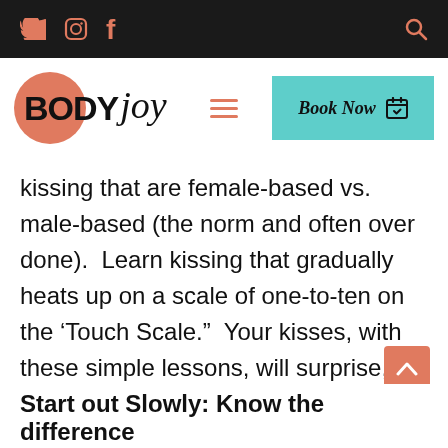Twitter Instagram Facebook [search]
[Figure (logo): BodyJoy logo with salmon/coral circle behind the text, consisting of BODY in bold and joy in cursive script]
kissing that are female-based vs. male-based (the norm and often over done).  Learn kissing that gradually heats up on a scale of one-to-ten on the ‘Touch Scale.”  Your kisses, with these simple lessons, will surprise, delight and dispel old routines.
Start out Slowly: Know the difference